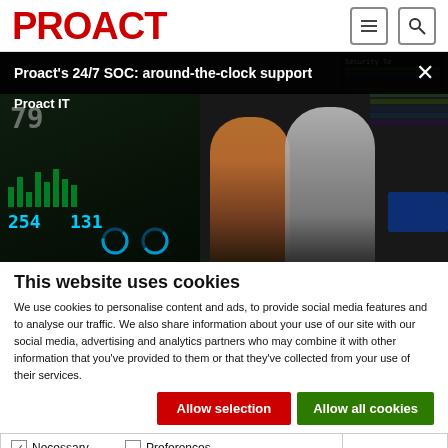PROACT
[Figure (screenshot): Video thumbnail showing two people looking at security operation center screens. Overlay title: Proact's 24/7 SOC: around-the-clock support. Sub-label: Proact IT]
This website uses cookies
We use cookies to personalise content and ads, to provide social media features and to analyse our traffic. We also share information about your use of our site with our social media, advertising and analytics partners who may combine it with other information that you've provided to them or that they've collected from your use of their services.
Allow selection | Allow all cookies
| Checkbox | Label |
| --- | --- |
| ✓ checked | Necessary |
| unchecked | Preferences |
| unchecked | Statistics |
| unchecked | Marketing |
|  | Show details |